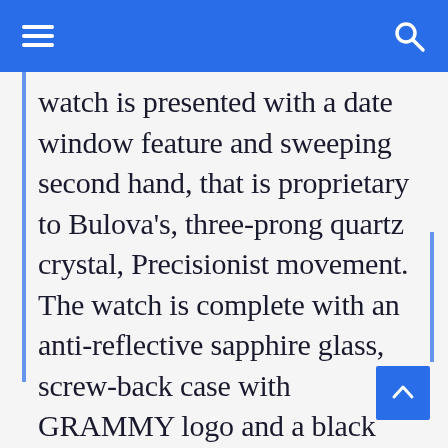watch is presented with a date window feature and sweeping second hand, that is proprietary to Bulova's, three-prong quartz crystal, Precisionist movement. The watch is complete with an anti-reflective sapphire glass, screw-back case with GRAMMY logo and a black rubber and croco-embossed grey leather strap.
“This year is incredibly momentous for not only the Recording